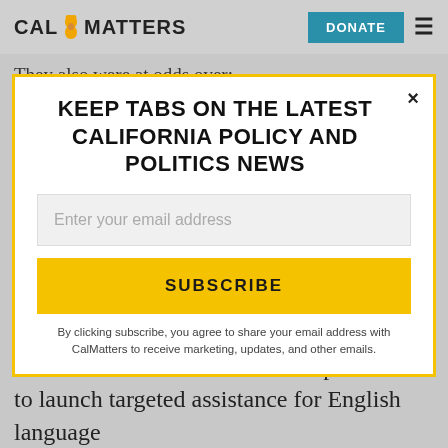CAL MATTERS | DONATE
They also were at odds over:
KEEP TABS ON THE LATEST CALIFORNIA POLICY AND POLITICS NEWS
Enter your email address
SUBSCRIBE
By clicking subscribe, you agree to share your email address with CalMatters to receive marketing, updates, and other emails.
need, while Thurmond called for adding more dollars to the formula and promised to launch targeted assistance for English language